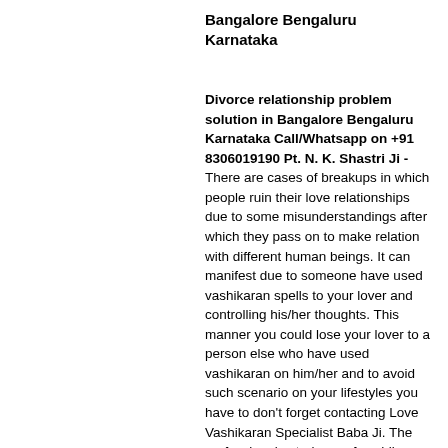Bangalore Bengaluru Karnataka
Divorce relationship problem solution in Bangalore Bengaluru Karnataka Call/Whatsapp on +91 8306019190 Pt. N. K. Shastri Ji - There are cases of breakups in which people ruin their love relationships due to some misunderstandings after which they pass on to make relation with different human beings. It can manifest due to someone have used vashikaran spells to your lover and controlling his/her thoughts. This manner you could lose your lover to a person else who have used vashikaran on him/her and to avoid such scenario on your lifestyles you have to don't forget contacting Love Vashikaran Specialist Baba Ji. The professional astrologer of vashikaran specialist will use his spells so as damage the effects of different character's spells on your lover and make